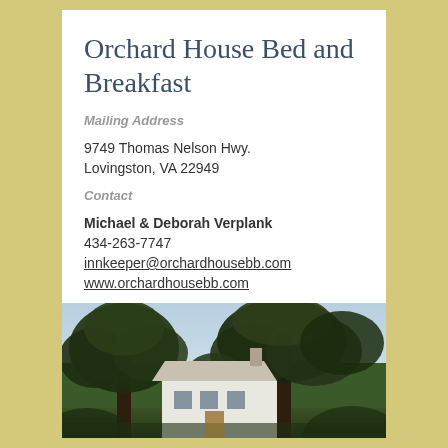Orchard House Bed and Breakfast
Mailing Address
9749 Thomas Nelson Hwy.
Lovingston, VA 22949
Contact
Michael & Deborah Verplank
434-263-7747
innkeeper@orchardhousebb.com
www.orchardhousebb.com
[Figure (photo): Exterior photograph of Orchard House Bed and Breakfast showing a white house partially visible through large trees at dusk/evening]